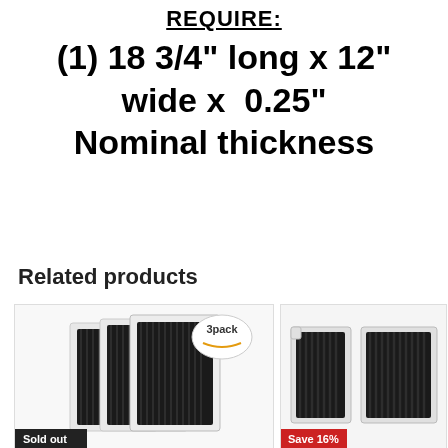REQUIRE:
(1) 18 3/4" long x 12" wide x 0.25" Nominal thickness
Related products
[Figure (photo): Three pack of refrigerator air filters in white packaging with black carbon material visible, 3pack Amazon badge in top right, Sold out label at bottom left]
[Figure (photo): Two refrigerator air filters side by side with white frame and black carbon material, Save 16% label at bottom left]